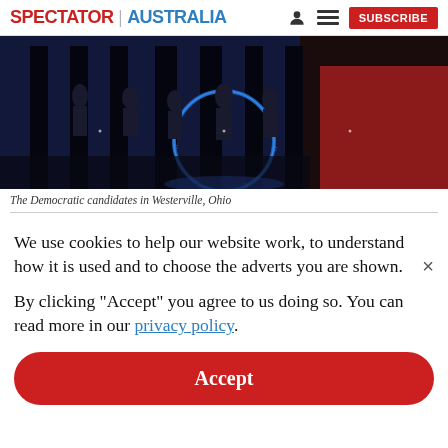SPECTATOR | AUSTRALIA  [person icon] [menu icon]  SUBSCRIBE
[Figure (photo): Democratic candidates on stage at a debate in Westerville, Ohio, with blue neon circular decoration and dramatic lighting]
The Democratic candidates in Westerville, Ohio
We use cookies to help our website work, to understand how it is used and to choose the adverts you are shown.
By clicking "Accept" you agree to us doing so. You can read more in our privacy policy.
Accept